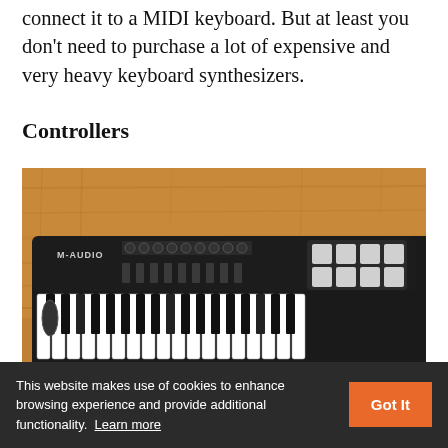connect it to a MIDI keyboard. But at least you don't need to purchase a lot of expensive and very heavy keyboard synthesizers.
Controllers
[Figure (photo): Photo of an M-Audio MIDI keyboard controller on a wooden surface. The keyboard has black and white keys, knobs, faders, buttons, and a grid of white pads on the right side.]
This website makes use of cookies to enhance browsing experience and provide additional functionality.  Learn more